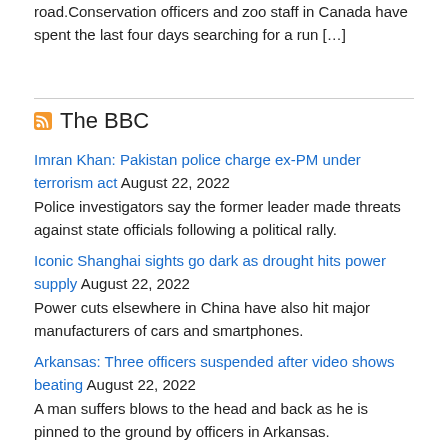road.Conservation officers and zoo staff in Canada have spent the last four days searching for a run […]
The BBC
Imran Khan: Pakistan police charge ex-PM under terrorism act August 22, 2022
Police investigators say the former leader made threats against state officials following a political rally.
Iconic Shanghai sights go dark as drought hits power supply August 22, 2022
Power cuts elsewhere in China have also hit major manufacturers of cars and smartphones.
Arkansas: Three officers suspended after video shows beating August 22, 2022
A man suffers blows to the head and back as he is pinned to the ground by officers in Arkansas.
Philippine students return to school for first time since Covid August 22, 2022
For over two thou...